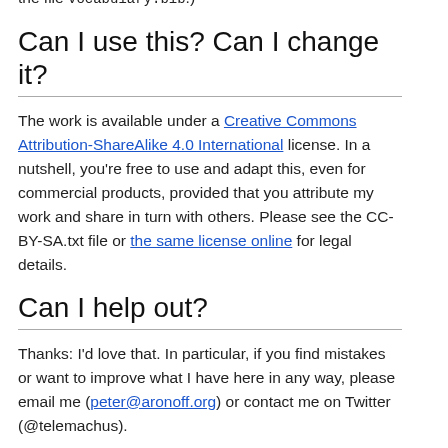and The BNF Dictionary of Ancient Greek by Franco Montanari. (For full bibliographical details, please see the file vocabulary.bib.)
Can I use this? Can I change it?
The work is available under a Creative Commons Attribution-ShareAlike 4.0 International license. In a nutshell, you’re free to use and adapt this, even for commercial products, provided that you attribute my work and share in turn with others. Please see the CC-BY-SA.txt file or the same license online for legal details.
Can I help out?
Thanks: I’d love that. In particular, if you find mistakes or want to improve what I have here in any way, please email me (peter@aronoff.org) or contact me on Twitter (@telemachus).